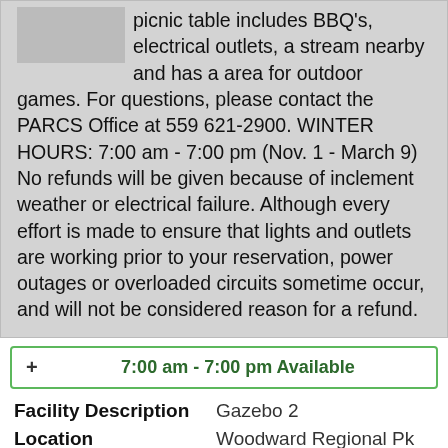picnic table includes BBQ's, electrical outlets, a stream nearby and has a area for outdoor games. For questions, please contact the PARCS Office at 559 621-2900. WINTER HOURS: 7:00 am - 7:00 pm (Nov. 1 - March 9) No refunds will be given because of inclement weather or electrical failure. Although every effort is made to ensure that lights and outlets are working prior to your reservation, power outages or overloaded circuits sometime occur, and will not be considered reason for a refund.
+ 7:00 am - 7:00 pm Available
| Facility Description | Gazebo 2 |
| Location Description | Woodward Regional Pk |
| Class Description | Picnic Table |
| Date | 01/06/2023 |